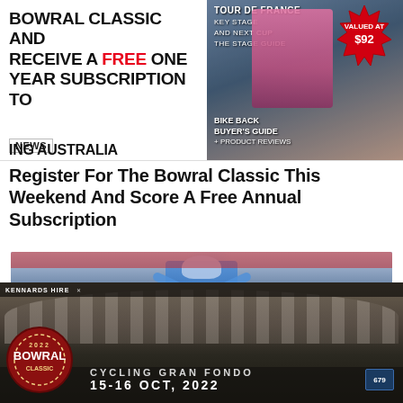[Figure (screenshot): Top banner with two sections: left side shows text 'BOWRAL CLASSIC AND RECEIVE A FREE ONE YEAR SUBSCRIPTION TO ING AUSTRALIA' with NEWS tag; right side shows a cycling magazine cover with Tour de France content and a red starburst badge 'VALUED AT $92']
Register For The Bowral Classic This Weekend And Score A Free Annual Subscription
[Figure (photo): Cyclist in blue jersey with arms raised in victory pose at finish line, surrounded by other cyclists. 'x Close' button visible in bottom right.]
[Figure (photo): Large crowd of cyclists at the Bowral Classic 2022 Cycling Gran Fondo event. Banner reads '2022 BOWRAL CLASSIC - CYCLING GRAN FONDO 15-16 OCT, 2022' with Kennards Hire sponsorship.]